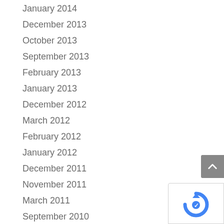January 2014
December 2013
October 2013
September 2013
February 2013
January 2013
December 2012
March 2012
February 2012
January 2012
December 2011
November 2011
March 2011
September 2010